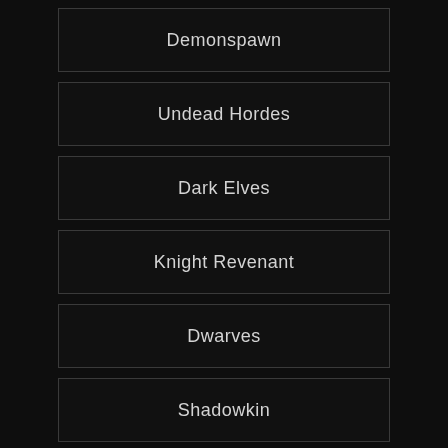Demonspawn
Undead Hordes
Dark Elves
Knight Revenant
Dwarves
Shadowkin